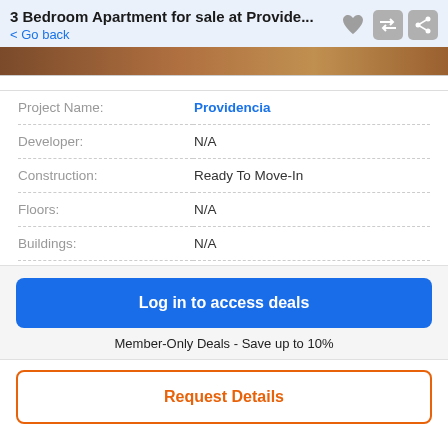3 Bedroom Apartment for sale at Provide...
< Go back
[Figure (photo): Partial view of a building/apartment exterior image strip at top of listing]
| Label | Value |
| --- | --- |
| Project Name: | Providencia |
| Developer: | N/A |
| Construction: | Ready To Move-In |
| Floors: | N/A |
| Buildings: | N/A |
Log in to access deals
Member-Only Deals - Save up to 10%
Request Details